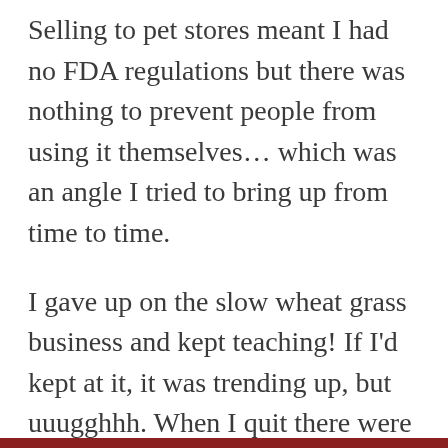Selling to pet stores meant I had no FDA regulations but there was nothing to prevent people from using it themselves... which was an angle I tried to bring up from time to time.
I gave up on the slow wheat grass business and kept teaching! If I'd kept at it, it was trending up, but uuugghhh. When I quit there were a few